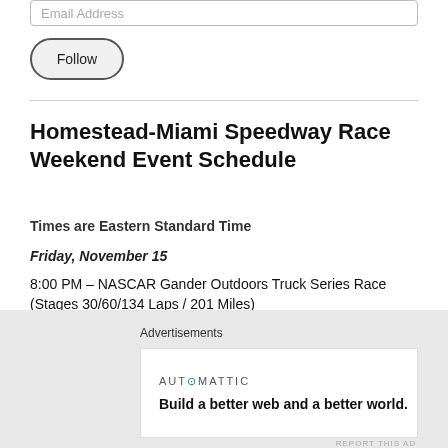Email Address
Follow
Homestead-Miami Speedway Race Weekend Event Schedule
Times are Eastern Standard Time
Friday, November 15
8:00 PM – NASCAR Gander Outdoors Truck Series Race (Stages 30/60/134 Laps / 201 Miles)
Saturday November 16
Advertisements
[Figure (screenshot): Automattic advertisement: 'Build a better web and a better world.']